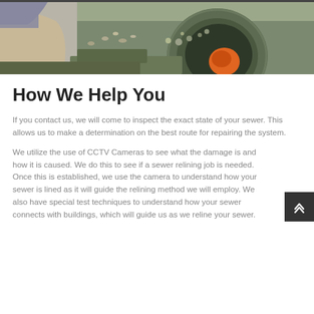[Figure (photo): Close-up photo of a worker inspecting or handling a large sewer pipe, with debris and gravel visible inside the pipe, and an orange object partially visible.]
How We Help You
If you contact us, we will come to inspect the exact state of your sewer. This allows us to make a determination on the best route for repairing the system.
We utilize the use of CCTV Cameras to see what the damage is and how it is caused. We do this to see if a sewer relining job is needed. Once this is established, we use the camera to understand how your sewer is lined as it will guide the relining method we will employ. We also have special test techniques to understand how your sewer connects with buildings, which will guide us as we reline your sewer.